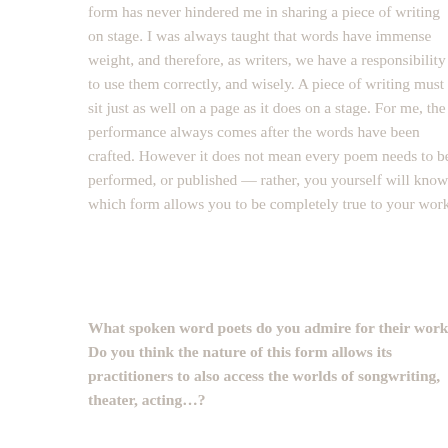form has never hindered me in sharing a piece of writing on stage. I was always taught that words have immense weight, and therefore, as writers, we have a responsibility to use them correctly, and wisely. A piece of writing must sit just as well on a page as it does on a stage. For me, the performance always comes after the words have been crafted. However it does not mean every poem needs to be performed, or published — rather, you yourself will know which form allows you to be completely true to your work.
What spoken word poets do you admire for their work? Do you think the nature of this form allows its practitioners to also access the worlds of songwriting, theater, acting…?